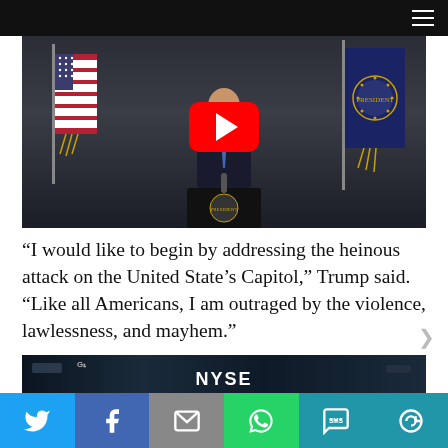[Figure (screenshot): Video thumbnail showing a person at a presidential podium with American flags, overlaid with a YouTube play button (red rounded rectangle with white play triangle)]
“I would like to begin by addressing the heinous attack on the United State’s Capitol,” Trump said. “Like all Americans, I am outraged by the violence, lawlessness, and mayhem.”
[Figure (screenshot): Partial view of NYSE (New York Stock Exchange) floor or display with NYSE text visible]
[Figure (other): Social media share bar with Twitter, Facebook, Email, WhatsApp, SMS, and More buttons]